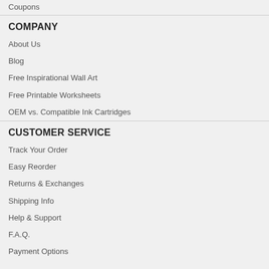Coupons
COMPANY
About Us
Blog
Free Inspirational Wall Art
Free Printable Worksheets
OEM vs. Compatible Ink Cartridges
CUSTOMER SERVICE
Track Your Order
Easy Reorder
Returns & Exchanges
Shipping Info
Help & Support
F.A.Q.
Payment Options